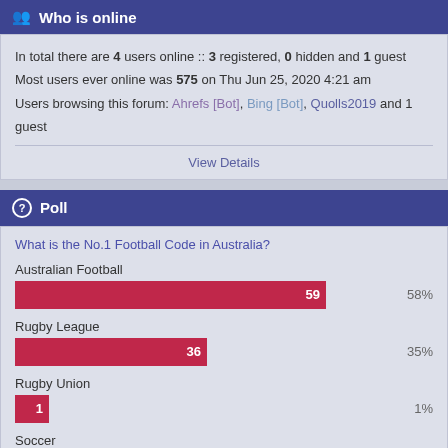Who is online
In total there are 4 users online :: 3 registered, 0 hidden and 1 guest
Most users ever online was 575 on Thu Jun 25, 2020 4:21 am
Users browsing this forum: Ahrefs [Bot], Bing [Bot], Quolls2019 and 1 guest
View Details
Poll
What is the No.1 Football Code in Australia?
[Figure (bar-chart): No.1 Football Code in Australia]